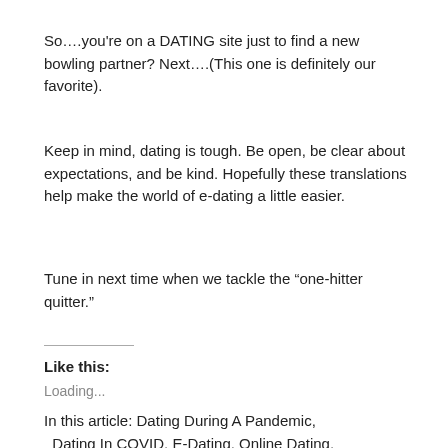So….you're on a DATING site just to find a new bowling partner? Next….(This one is definitely our favorite).
Keep in mind, dating is tough. Be open, be clear about expectations, and be kind. Hopefully these translations help make the world of e-dating a little easier.
Tune in next time when we tackle the “one-hitter quitter.”
Like this:
Loading...
In this article:  Dating During A Pandemic,  Dating In COVID,  E-Dating,  Online Dating,